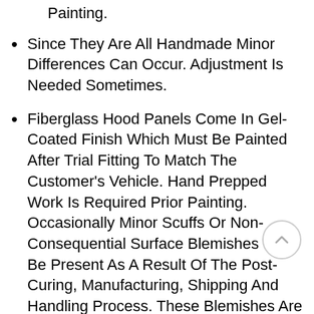Painting.
Since They Are All Handmade Minor Differences Can Occur. Adjustment Is Needed Sometimes.
Fiberglass Hood Panels Come In Gel-Coated Finish Which Must Be Painted After Trial Fitting To Match The Customer's Vehicle. Hand Prepped Work Is Required Prior Painting. Occasionally Minor Scuffs Or Non-Consequential Surface Blemishes May Be Present As A Result Of The Post-Curing, Manufacturing, Shipping And Handling Process. These Blemishes Are Removed During The Normal Sanding And Preparation Process Required When Painting Any Vehicle Body